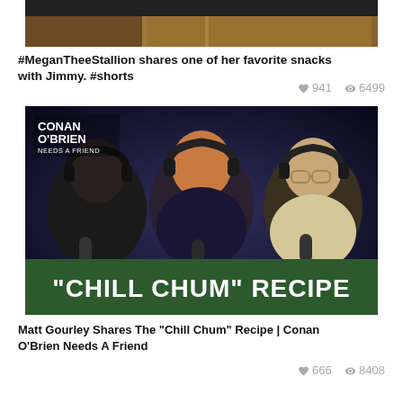[Figure (photo): Partial view of a studio set with wooden panel background and dark top bar, cropped at top of page]
#MeganTheeStallion shares one of her favorite snacks with Jimmy. #shorts
♥ 941  👁 6499
[Figure (photo): Three people sitting at a podcast studio microphone setup, laughing. Conan O'Brien Needs A Friend logo in top left. Banner at bottom reads: "CHILL CHUM" RECIPE]
Matt Gourley Shares The "Chill Chum" Recipe | Conan O'Brien Needs A Friend
♥ 666  👁 8408